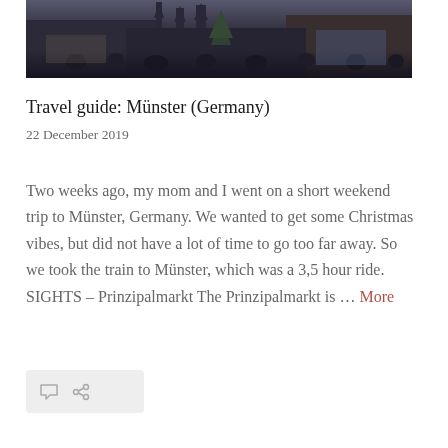[Figure (photo): Crowd gathered in front of a large Gothic church/cathedral, with a Christmas tree visible, dark winter atmosphere, Münster Germany]
Travel guide: Münster (Germany)
22 December 2019
Two weeks ago, my mom and I went on a short weekend trip to Münster, Germany. We wanted to get some Christmas vibes, but did not have a lot of time to go too far away. So we took the train to Münster, which was a 3,5 hour ride. SIGHTS – Prinzipalmarkt The Prinzipalmarkt is … More